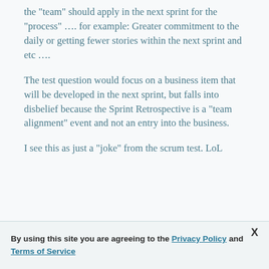the "team" should apply in the next sprint for the "process" …. for example: Greater commitment to the daily or getting fewer stories within the next sprint and etc ….
The test question would focus on a business item that will be developed in the next sprint, but falls into disbelief because the Sprint Retrospective is a "team alignment" event and not an entry into the business.
I see this as just a "joke" from the scrum test. LoL
By using this site you are agreeing to the Privacy Policy and Terms of Service